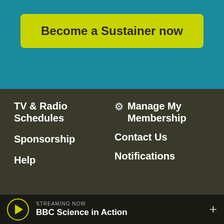Become a Sustainer now
TV & Radio Schedules
Sponsorship
Help
Manage My Membership
Contact Us
Notifications
Privacy Policy
FCC Applications
Editorial Policy
Contest Rules
FCC Public Files
Terms of Use
SMS T&C
Accessibility
STREAMING NOW
BBC Science in Action